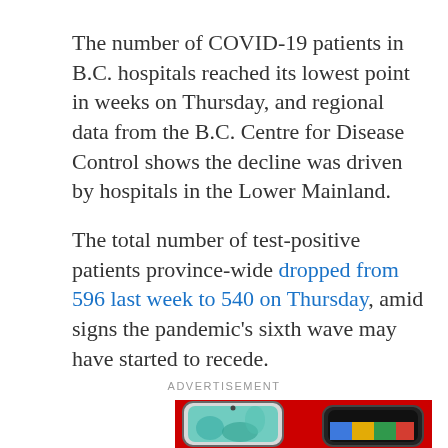The number of COVID-19 patients in B.C. hospitals reached its lowest point in weeks on Thursday, and regional data from the B.C. Centre for Disease Control shows the decline was driven by hospitals in the Lower Mainland.
The total number of test-positive patients province-wide dropped from 596 last week to 540 on Thursday, amid signs the pandemic's sixth wave may have started to recede.
ADVERTISEMENT
[Figure (photo): Advertisement image showing two smartphones against a red background — a Samsung Galaxy on the left with a floral/teal wallpaper, and a dark Google Pixel on the right with a colorful geometric screen.]